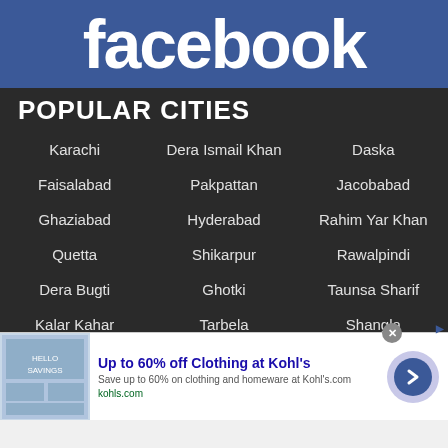[Figure (logo): Facebook logo white text on blue background]
POPULAR CITIES
Karachi
Dera Ismail Khan
Daska
Faisalabad
Pakpattan
Jacobabad
Ghaziabad
Hyderabad
Rahim Yar Khan
Quetta
Shikarpur
Rawalpindi
Dera Bugti
Ghotki
Taunsa Sharif
Kalar Kahar
Tarbela
Shangla
[Figure (screenshot): Advertisement banner: Up to 60% off Clothing at Kohl's. Save up to 60% on clothing and homeware at Kohl's.com. kohls.com]